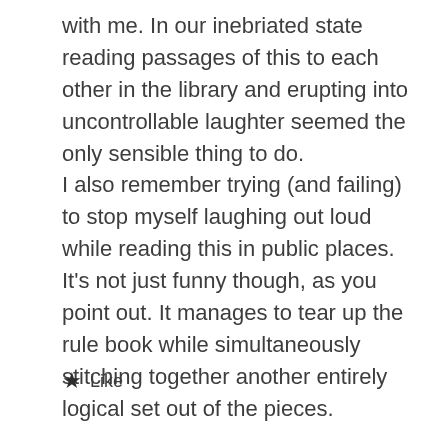with me. In our inebriated state reading passages of this to each other in the library and erupting into uncontrollable laughter seemed the only sensible thing to do.
I also remember trying (and failing) to stop myself laughing out loud while reading this in public places.
It's not just funny though, as you point out. It manages to tear up the rule book while simultaneously stitching together another entirely logical set out of the pieces.
Like